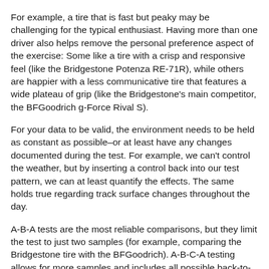For example, a tire that is fast but peaky may be challenging for the typical enthusiast. Having more than one driver also helps remove the personal preference aspect of the exercise: Some like a tire with a crisp and responsive feel (like the Bridgestone Potenza RE-71R), while others are happier with a less communicative tire that features a wide plateau of grip (like the Bridgestone's main competitor, the BFGoodrich g-Force Rival S).
For your data to be valid, the environment needs to be held as constant as possible–or at least have any changes documented during the test. For example, we can't control the weather, but by inserting a control back into our test pattern, we can at least quantify the effects. The same holds true regarding track surface changes throughout the day.
A-B-A tests are the most reliable comparisons, but they limit the test to just two samples (for example, comparing the Bridgestone tire with the BFGoodrich). A-B-C-A testing allows for more samples and includes all possible back-to-back combinations. A-B-C-D-A is more prone to overall data shift, although the individual back-to-back comparisons are still good. We've even